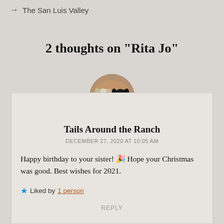→ The San Luis Valley
2 thoughts on “Rita Jo”
[Figure (photo): Circular avatar photo of two dogs, one white/grey and one black, sitting together against a brick background.]
Tails Around the Ranch
DECEMBER 27, 2020 AT 10:05 AM
Happy birthday to your sister! 🎉 Hope your Christmas was good. Best wishes for 2021.
★ Liked by 1 person
REPLY